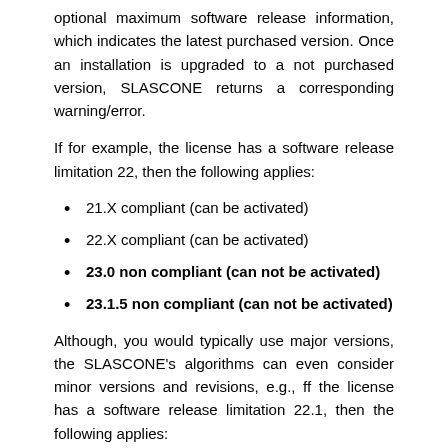optional maximum software release information, which indicates the latest purchased version. Once an installation is upgraded to a not purchased version, SLASCONE returns a corresponding warning/error.
If for example, the license has a software release limitation 22, then the following applies:
21.X compliant (can be activated)
22.X compliant (can be activated)
23.0 non compliant (can not be activated)
23.1.5 non compliant (can not be activated)
Although, you would typically use major versions, the SLASCONE's algorithms can even consider minor versions and revisions, e.g., ff the license has a software release limitation 22.1, then the following applies:
21.X compliant (can be activated)
22.0 compliant (can be activated)